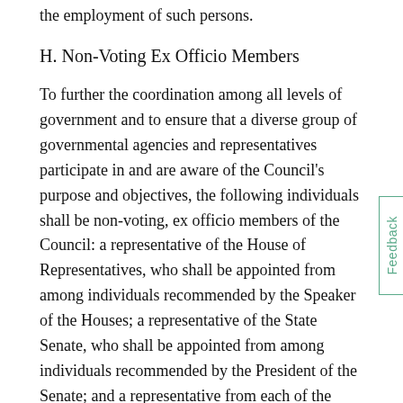the employment of such persons.
H. Non-Voting Ex Officio Members
To further the coordination among all levels of government and to ensure that a diverse group of governmental agencies and representatives participate in and are aware of the Council's purpose and objectives, the following individuals shall be non-voting, ex officio members of the Council: a representative of the House of Representatives, who shall be appointed from among individuals recommended by the Speaker of the Houses; a representative of the State Senate, who shall be appointed from among individuals recommended by the President of the Senate; and a representative from each of the following governmental agencies: the Massachusetts Office on Disability, the